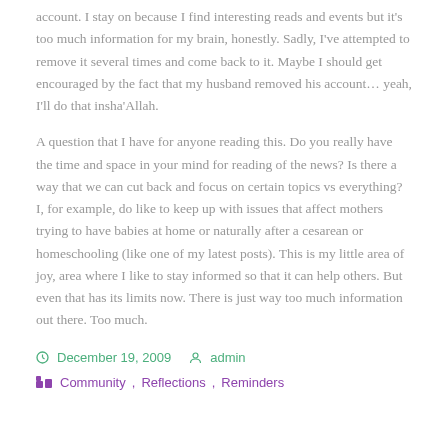account. I stay on because I find interesting reads and events but it's too much information for my brain, honestly. Sadly, I've attempted to remove it several times and come back to it. Maybe I should get encouraged by the fact that my husband removed his account… yeah, I'll do that insha'Allah.
A question that I have for anyone reading this. Do you really have the time and space in your mind for reading of the news? Is there a way that we can cut back and focus on certain topics vs everything? I, for example, do like to keep up with issues that affect mothers trying to have babies at home or naturally after a cesarean or homeschooling (like one of my latest posts). This is my little area of joy, area where I like to stay informed so that it can help others. But even that has its limits now. There is just way too much information out there. Too much.
December 19, 2009   admin
Community, Reflections, Reminders